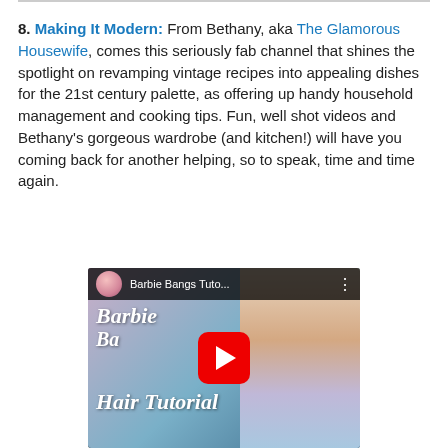8. Making It Modern: From Bethany, aka The Glamorous Housewife, comes this seriously fab channel that shines the spotlight on revamping vintage recipes into appealing dishes for the 21st century palette, as offering up handy household management and cooking tips. Fun, well shot videos and Bethany's gorgeous wardrobe (and kitchen!) will have you coming back for another helping, so to speak, time and time again.
[Figure (screenshot): YouTube video thumbnail for 'Barbie Bangs Tuto...' showing a woman with vintage pinup hairstyle and text 'Barbie Bangs Hair Tutorial' in script font overlay]